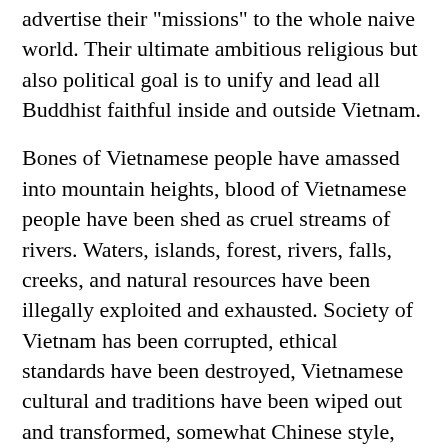advertise their "missions" to the whole naive world. Their ultimate ambitious religious but also political goal is to unify and lead all Buddhist faithful inside and outside Vietnam.
Bones of Vietnamese people have amassed into mountain heights, blood of Vietnamese people have been shed as cruel streams of rivers. Waters, islands, forest, rivers, falls, creeks, and natural resources have been illegally exploited and exhausted. Society of Vietnam has been corrupted, ethical standards have been destroyed, Vietnamese cultural and traditions have been wiped out and transformed, somewhat Chinese style, somewhat European style, weird mixed fashions and lifestyles. These abnormal and strange lifestyles happen every day from cities to the country side. The future of Vietnamese People and the sovereignty of Vietnam itself are so gloomy before a possibility of reoccurring a second phantom war between America and its allies against China and its allies which may lead to the disappearance of and independent nation of Vietnam itself on the world map. As a result, the Vietnamese People may have to migrate to other countries and become minority groups in those nations where they resettle themselves and